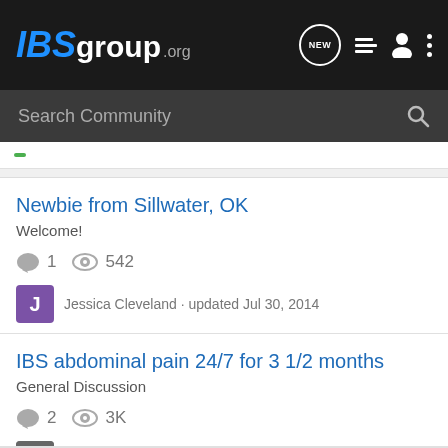IBSgroup.org
Search Community
Newbie from Sillwater, OK · Welcome! · 1 comment · 542 views · Jessica Cleveland · updated Jul 30, 2014
IBS abdominal pain 24/7 for 3 1/2 months · General Discussion · 2 comments · 3K views · Alison01 · updated Jun 22, 2012